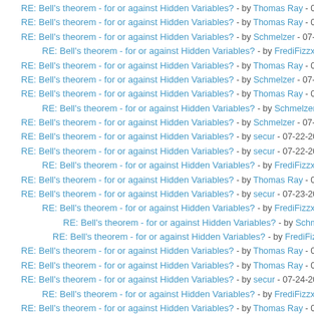RE: Bell's theorem - for or against Hidden Variables? - by Thomas Ray - 07-
RE: Bell's theorem - for or against Hidden Variables? - by Thomas Ray - 07-
RE: Bell's theorem - for or against Hidden Variables? - by Schmelzer - 07-22
RE: Bell's theorem - for or against Hidden Variables? - by FrediFizzx - 07-
RE: Bell's theorem - for or against Hidden Variables? - by Thomas Ray - 07-
RE: Bell's theorem - for or against Hidden Variables? - by Schmelzer - 07-22
RE: Bell's theorem - for or against Hidden Variables? - by Thomas Ray - 07-
RE: Bell's theorem - for or against Hidden Variables? - by Schmelzer - 07-
RE: Bell's theorem - for or against Hidden Variables? - by Schmelzer - 07-22
RE: Bell's theorem - for or against Hidden Variables? - by secur - 07-22-2016
RE: Bell's theorem - for or against Hidden Variables? - by secur - 07-22-2016
RE: Bell's theorem - for or against Hidden Variables? - by FrediFizzx - 07-
RE: Bell's theorem - for or against Hidden Variables? - by Thomas Ray - 07-
RE: Bell's theorem - for or against Hidden Variables? - by secur - 07-23-2016
RE: Bell's theorem - for or against Hidden Variables? - by FrediFizzx - 07-
RE: Bell's theorem - for or against Hidden Variables? - by Schmelzer - 0
RE: Bell's theorem - for or against Hidden Variables? - by FrediFizzx
RE: Bell's theorem - for or against Hidden Variables? - by Thomas Ray - 07-
RE: Bell's theorem - for or against Hidden Variables? - by Thomas Ray - 07-
RE: Bell's theorem - for or against Hidden Variables? - by secur - 07-24-2016
RE: Bell's theorem - for or against Hidden Variables? - by FrediFizzx - 07-
RE: Bell's theorem - for or against Hidden Variables? - by Thomas Ray - 07-
RE: Bell's theorem - for or against Hidden Variables? - by secur - 07-24-2016
RE: Bell's theorem - for or against Hidden Variables? - by Thomas Ray - 07-
RE: Bell's theorem - for or against Hidden Variables? - by gill1109 - 07-24